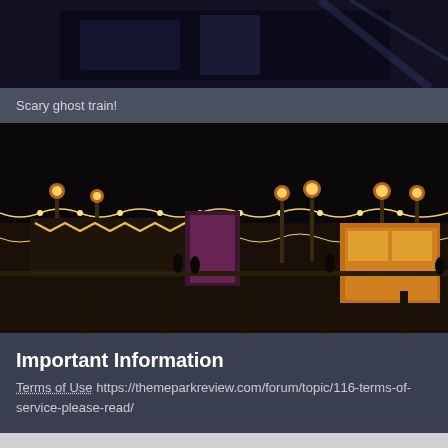[Figure (photo): Dark nighttime photo, partial view of a ghost train ride or dark attraction, visible at the top of the page.]
Scary ghost train!
[Figure (photo): Nighttime photo of an illuminated pier or boardwalk with string lights, lamp posts, and people walking. Bright yellow stalls visible on the right side.]
Important Information
Terms of Use https://themeparkreview.com/forum/topic/116-terms-of-service-please-read/
I accept